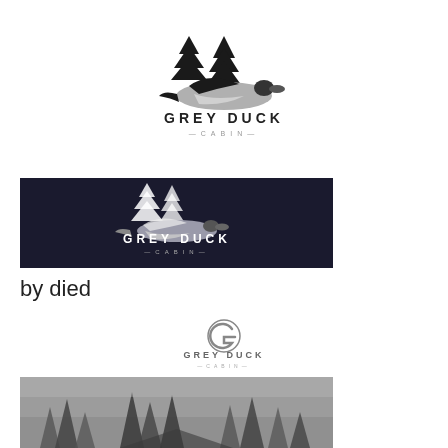[Figure (logo): Grey Duck Cabin logo on white background: flying duck/goose silhouette with pine trees, text 'GREY DUCK' bold and '—CABIN—' below in lighter text]
[Figure (logo): Grey Duck Cabin logo on dark navy background: flying duck/goose silhouette with pine trees in white/grey, text 'GREY DUCK' and '—CABIN—' in white]
by died
[Figure (logo): Grey Duck Cabin small icon logo: stylized 'G' lettermark in grey circle with 'GREY DUCK —CABIN—' text below in small caps]
[Figure (photo): Greyscale/foggy photo of cabin or structure among tall pine trees in misty forest setting]